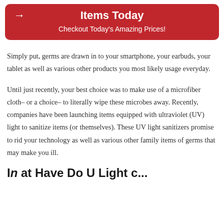Items Today
Checkout Today's Amazing Prices!
Simply put, germs are drawn in to your smartphone, your earbuds, your tablet as well as various other products you most likely usage everyday.
Until just recently, your best choice was to make use of a microfiber cloth– or a choice– to literally wipe these microbes away. Recently, companies have been launching items equipped with ultraviolet (UV) light to sanitize items (or themselves). These UV light sanitizers promise to rid your technology as well as various other family items of germs that may make you ill.
I at Have Do U Light c...